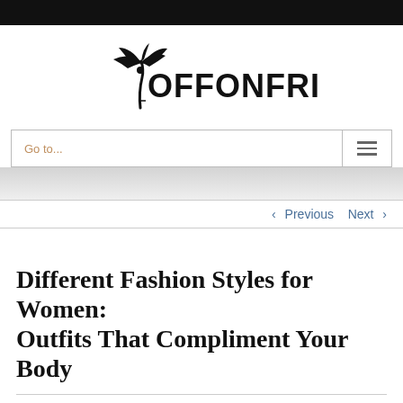[Figure (logo): OffOnFriday logo with palm tree icon and text OFFONFRIDAY in bold serif/sans mixed lettering]
Go to...
< Previous   Next >
Different Fashion Styles for Women: Outfits That Compliment Your Body
By Kristi Kuhn | September 30, 2020 | Fashion Trends | 0